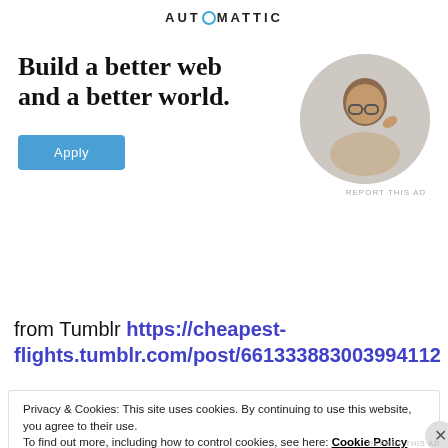[Figure (logo): Automattic logo with circular O letter mark in teal/blue]
Build a better web and a better world.
[Figure (photo): Circular cropped photo of a man wearing glasses, looking upward thoughtfully, hand on chin]
Apply (button)
REPORT THIS AD
from Tumblr https://cheapest-flights.tumblr.com/post/661333883003994112
Privacy & Cookies: This site uses cookies. By continuing to use this website, you agree to their use.
To find out more, including how to control cookies, see here: Cookie Policy
Close and accept